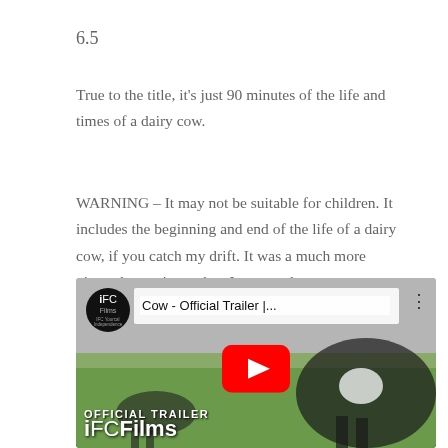6.5
True to the title, it's just 90 minutes of the life and times of a dairy cow.
WARNING – It may not be suitable for children. It includes the beginning and end of the life of a dairy cow, if you catch my drift. It was a much more visceral experience than I expected.
[Figure (screenshot): YouTube video thumbnail for 'Cow - Official Trailer' by IFC Films, showing dairy cows in a field with a YouTube play button overlay. Text at bottom reads 'OFFICIAL TRAILER' and 'iFCFilms'.]